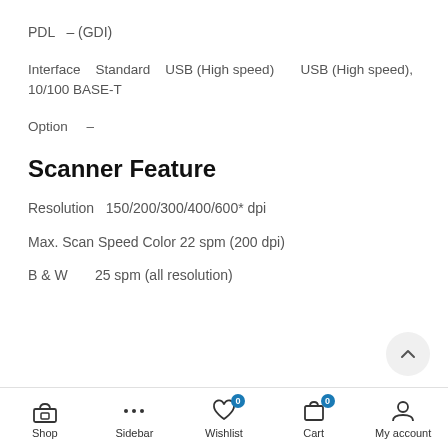PDL  – (GDI)
Interface    Standard    USB (High speed)        USB (High speed), 10/100 BASE-T
Option     –
Scanner Feature
Resolution  150/200/300/400/600* dpi
Max. Scan Speed Color 22 spm (200 dpi)
B & W       25 spm (all resolution)
Shop   Sidebar   Wishlist 0   Cart 0   My account